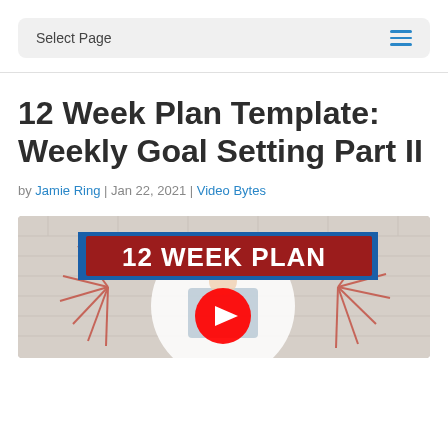Select Page
12 Week Plan Template: Weekly Goal Setting Part II
by Jamie Ring | Jan 22, 2021 | Video Bytes
[Figure (screenshot): YouTube video thumbnail showing '12 WEEK PLAN' text on a dark red banner with blue border, a person working at a desk visible in background, and a YouTube play button in the center. Decorative lines radiate from the image edges.]